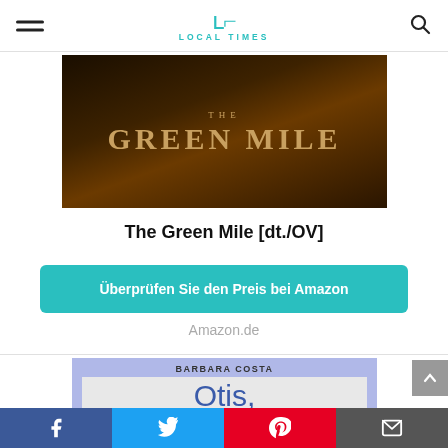LOCAL TIMES
[Figure (photo): Movie poster for The Green Mile showing dark warm-toned background with stylized text 'THE GREEN MILE']
The Green Mile [dt./OV]
Überprüfen Sie den Preis bei Amazon
Amazon.de
[Figure (photo): Book cover for 'Otis, der beste Hund der Welt!' by Barbara Costa, with blue/purple background and hand-lettered title]